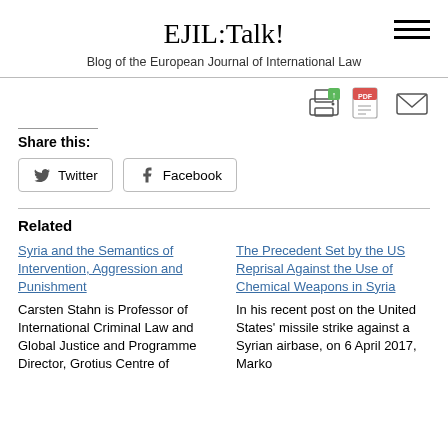EJIL:Talk!
Blog of the European Journal of International Law
Share this:
Twitter  Facebook
Related
Syria and the Semantics of Intervention, Aggression and Punishment
Carsten Stahn is Professor of International Criminal Law and Global Justice and Programme Director, Grotius Centre of
The Precedent Set by the US Reprisal Against the Use of Chemical Weapons in Syria
In his recent post on the United States' missile strike against a Syrian airbase, on 6 April 2017, Marko